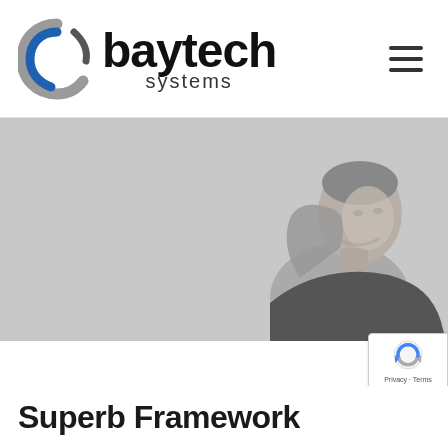[Figure (logo): Baytech Systems logo with circular blue and gray swoosh icon and bold black text reading 'baytech systems']
[Figure (photo): Grayscale hero image of a man in a dark shirt looking upward with hands behind his head, on a light gray background]
[Figure (other): Google reCAPTCHA badge widget with blue/gray robot icon and 'Privacy - Terms' text]
Superb Framework